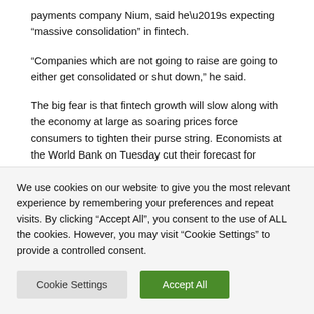payments company Nium, said he’s expecting “massive consolidation” in fintech.
“Companies which are not going to raise are going to either get consolidated or shut down,” he said.
The big fear is that fintech growth will slow along with the economy at large as soaring prices force consumers to tighten their purse string. Economists at the World Bank on Tuesday cut their forecast for global economic growth, warning of prolonged “stagflation” – a situation where inflation remains high but growth stalls.
We use cookies on our website to give you the most relevant experience by remembering your preferences and repeat visits. By clicking “Accept All”, you consent to the use of ALL the cookies. However, you may visit "Cookie Settings" to provide a controlled consent.